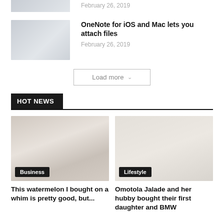[Figure (photo): Partially visible article thumbnail at top of page]
February 26, 2019
[Figure (photo): Thumbnail image of a laptop/notebook on a desk]
OneNote for iOS and Mac lets you attach files
February 26, 2019
Load more
HOT NEWS
[Figure (photo): Photo with Business category badge]
This watermelon I bought on a whim is pretty good, but...
[Figure (photo): Photo with Lifestyle category badge]
Omotola Jalade and her hubby bought their first daughter and BMW